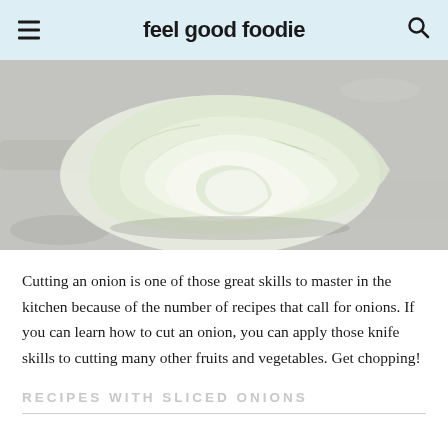feel good foodie
[Figure (photo): A sliced white onion on a light grey stone or concrete surface, showing the layers of the onion fanned out.]
Cutting an onion is one of those great skills to master in the kitchen because of the number of recipes that call for onions. If you can learn how to cut an onion, you can apply those knife skills to cutting many other fruits and vegetables. Get chopping!
RECIPES WITH SLICED ONIONS